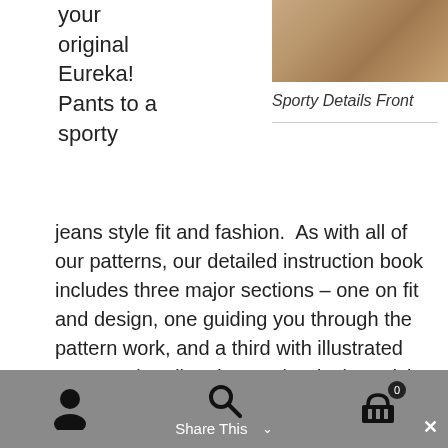[Figure (photo): Close-up photo of fabric in tan/khaki tone, showing sporty pants front detail]
your
original
Eureka!
Pants to a
sporty
Sporty Details Front
jeans style fit and fashion.  As with all of our patterns, our detailed instruction book includes three major sections – one on fit and design, one guiding you through the pattern work, and a third with illustrated construction directions.  The design advice for your sporty pants includes:
Refining the fit if you prefer to wear jeans a
Share This ∨  ×